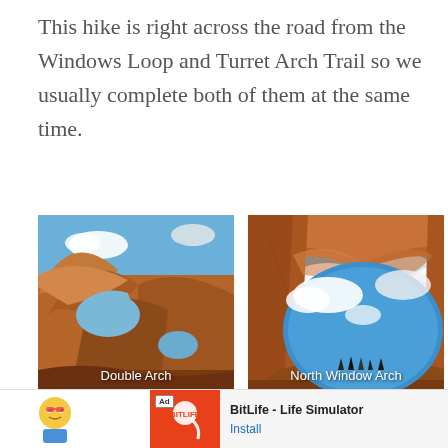This hike is right across the road from the Windows Loop and Turret Arch Trail so we usually complete both of them at the same time.
[Figure (photo): Two side-by-side photos of rock arches. Left: Double Arch, red sandstone arch with blue sky. Right: North Window Arch, large oval arch framing blue cloudy sky with small silhouettes of people.]
This website uses cookies to improve your experience. We'll assume you are ok with this but you can opt out at any time. Click accept to continue.
[Figure (screenshot): Ad banner for BitLife - Life Simulator with Install button]